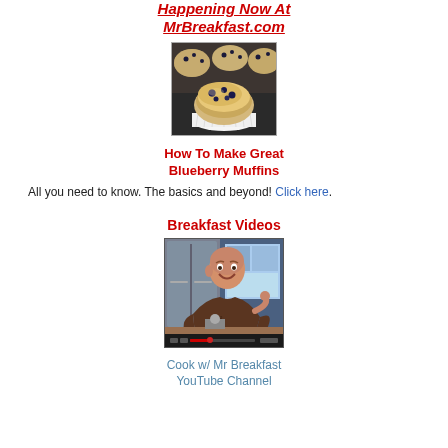Happening Now At MrBreakfast.com
[Figure (photo): Close-up photo of blueberry muffins on a baking tray, one muffin in a white paper cup in the foreground]
How To Make Great Blueberry Muffins
All you need to know. The basics and beyond! Click here.
Breakfast Videos
[Figure (screenshot): Screenshot of a YouTube video showing a bald man in a brown shirt smiling and pointing, in a kitchen setting]
Cook w/ Mr Breakfast YouTube Channel